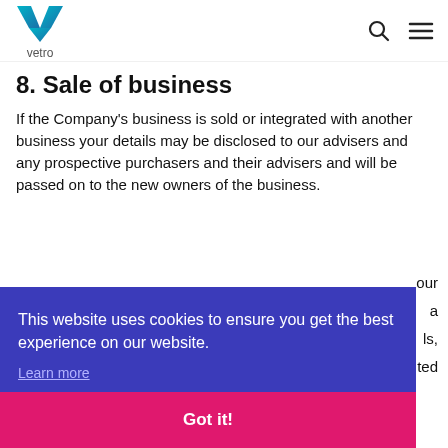vetro
8. Sale of business
If the Company's business is sold or integrated with another business your details may be disclosed to our advisers and any prospective purchasers and their advisers and will be passed on to the new owners of the business.
This website uses cookies to ensure you get the best experience on our website.
Learn more
Got it!